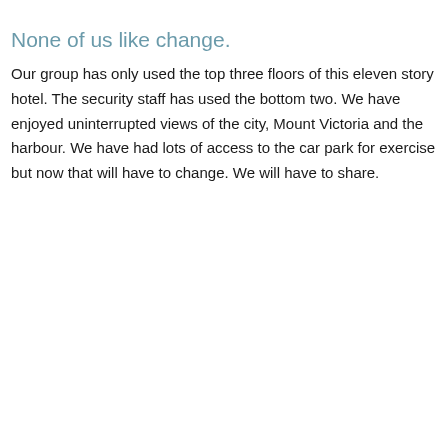None of us like change.
Our group has only used the top three floors of this eleven story hotel. The security staff has used the bottom two. We have enjoyed uninterrupted views of the city, Mount Victoria and the harbour. We have had lots of access to the car park for exercise but now that will have to change. We will have to share.